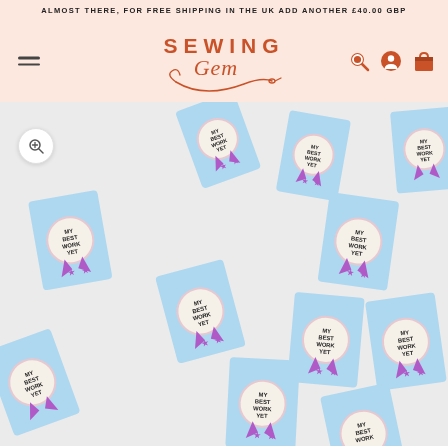ALMOST THERE, FOR FREE SHIPPING IN THE UK ADD ANOTHER £40.00 GBP
[Figure (logo): Sewing Gem logo — script and serif combination in terracotta/rust orange color with a needle motif underneath]
[Figure (photo): Product photo showing multiple light blue fabric sewing labels scattered on a white background. Each label features a rosette/badge design with purple star ribbons and the text MY BEST WORK YET in dark letters on a cream circular badge center.]